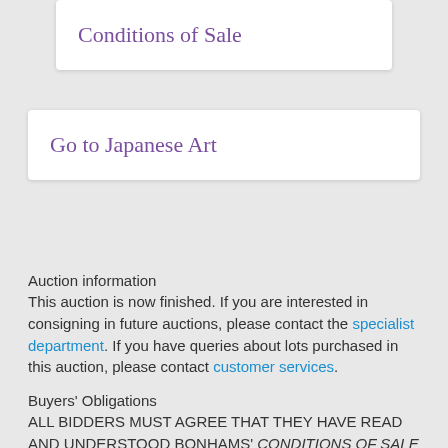Conditions of Sale
Go to Japanese Art
Auction information
This auction is now finished. If you are interested in consigning in future auctions, please contact the specialist department. If you have queries about lots purchased in this auction, please contact customer services.
Buyers' Obligations
ALL BIDDERS MUST AGREE THAT THEY HAVE READ AND UNDERSTOOD BONHAMS' CONDITIONS OF SALE